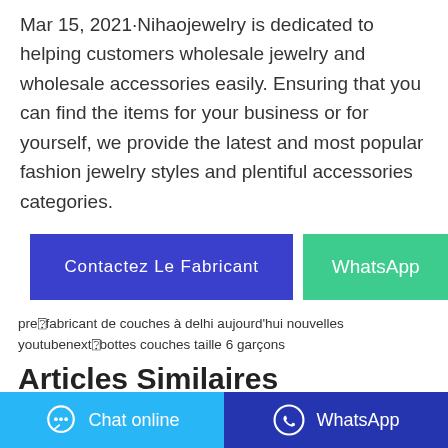Mar 15, 2021·Nihaojewelry is dedicated to helping customers wholesale jewelry and wholesale accessories easily. Ensuring that you can find the items for your business or for yourself, we provide the latest and most popular fashion jewelry styles and plentiful accessories categories.
Contactez Le Fabricant | WhatsApp
pre fabricant de couches à delhi aujourd'hui nouvelles youtubenext bottes couches taille 6 garçons
Articles Similaires
distributeur de couches à delhi à la prochaine
Chat online | WhatsApp